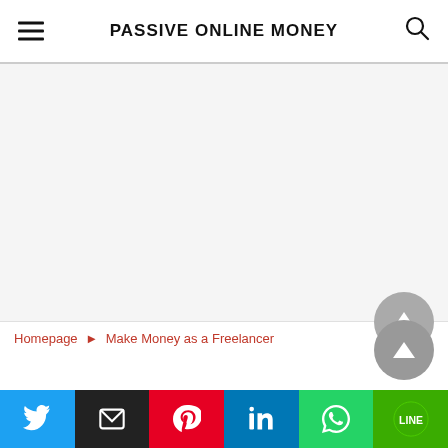PASSIVE ONLINE MONEY
[Figure (other): Large blank advertisement/content area]
Homepage ► Make Money as a Freelancer
[Figure (other): Social share buttons bar: Twitter, Email, Pinterest, LinkedIn, WhatsApp, LINE]